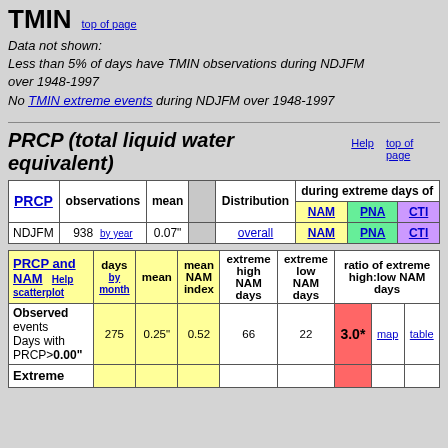TMIN   top of page
Data not shown:
Less than 5% of days have TMIN observations during NDJFM over 1948-1997
No TMIN extreme events during NDJFM over 1948-1997
PRCP (total liquid water equivalent)    Help    top of page
| PRCP | observations | mean |  | Distribution | during extreme days of |  |  |
| --- | --- | --- | --- | --- | --- | --- | --- |
| NDJFM | 938  by year | 0.07" |  | overall | NAM | PNA | CTI |
| PRCP and NAM  Help scatterplot | days by month | mean | mean NAM index | extreme high NAM days | extreme low NAM days | ratio of extreme high:low NAM days |  |  |
| --- | --- | --- | --- | --- | --- | --- | --- | --- |
| Observed events Days with PRCP>0.00" | 275 | 0.25" | 0.52 | 66 | 22 | 3.0* | map | table |
| Extreme |  |  |  |  |  |  |  |  |